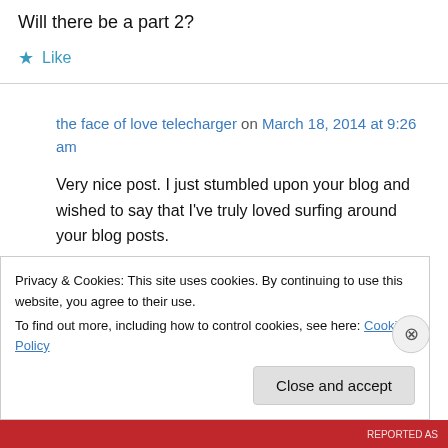Will there be a part 2?
★ Like
the face of love telecharger on March 18, 2014 at 9:26 am
Very nice post. I just stumbled upon your blog and wished to say that I've truly loved surfing around your blog posts.
After all I'll be subscribing in your rss feed and I
Privacy & Cookies: This site uses cookies. By continuing to use this website, you agree to their use.
To find out more, including how to control cookies, see here: Cookie Policy
Close and accept